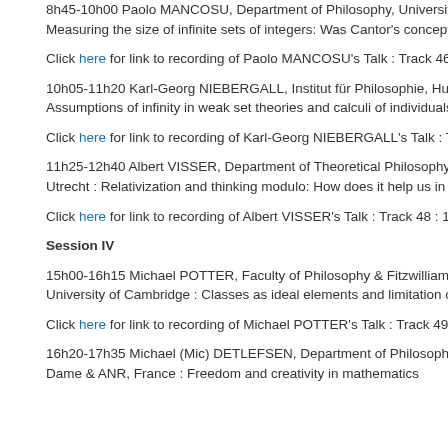8h45-10h00 Paolo MANCOSU, Department of Philosophy, University of California Berkeley : Measuring the size of infinite sets of integers: Was Cantor's conception of infinity the only viable one?
Click here for link to recording of Paolo MANCOSU's Talk : Track 46 : 1hr 24 m
10h05-11h20 Karl-Georg NIEBERGALL, Institut für Philosophie, Humboldt Universität Berlin : Assumptions of infinity in weak set theories and calculi of individuals
Click here for link to recording of Karl-Georg NIEBERGALL's Talk : Track 47 : 1
11h25-12h40 Albert VISSER, Department of Theoretical Philosophy, Universiteit Utrecht : Relativization and thinking modulo: How does it help us in theory redu
Click here for link to recording of Albert VISSER's Talk : Track 48 : 1 hr 17 mins
Session IV
15h00-16h15 Michael POTTER, Faculty of Philosophy & Fitzwilliam College, University of Cambridge : Classes as ideal elements and limitation of size
Click here for link to recording of Michael POTTER's Talk : Track 49 : 55 mins 3
16h20-17h35 Michael (Mic) DETLEFSEN, Department of Philosophy, University of Notre Dame & ANR, France : Freedom and creativity in mathematics